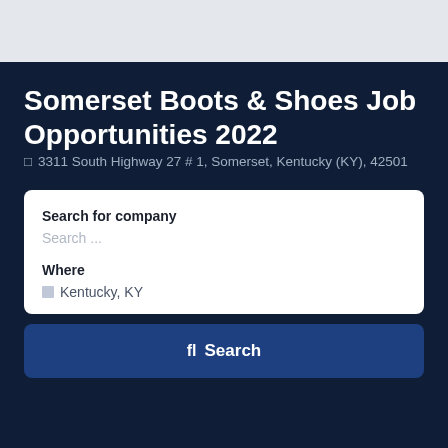Somerset Boots & Shoes Job Opportunities 2022
📍 3311 South Highway 27 # 1, Somerset, Kentucky (KY), 42501
Search for company
Search ...
Where
📍  Kentucky, KY
fl Search